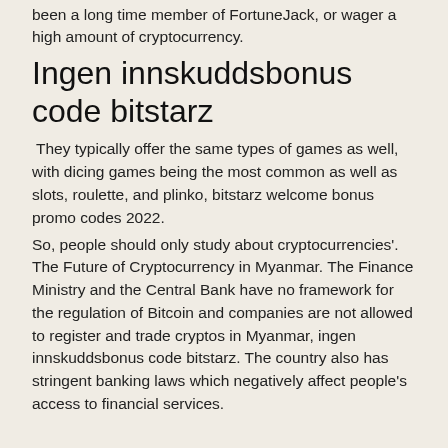been a long time member of FortuneJack, or wager a high amount of cryptocurrency.
Ingen innskuddsbonus code bitstarz
They typically offer the same types of games as well, with dicing games being the most common as well as slots, roulette, and plinko, bitstarz welcome bonus promo codes 2022.
So, people should only study about cryptocurrencies'. The Future of Cryptocurrency in Myanmar. The Finance Ministry and the Central Bank have no framework for the regulation of Bitcoin and companies are not allowed to register and trade cryptos in Myanmar, ingen innskuddsbonus code bitstarz. The country also has stringent banking laws which negatively affect people's access to financial services.